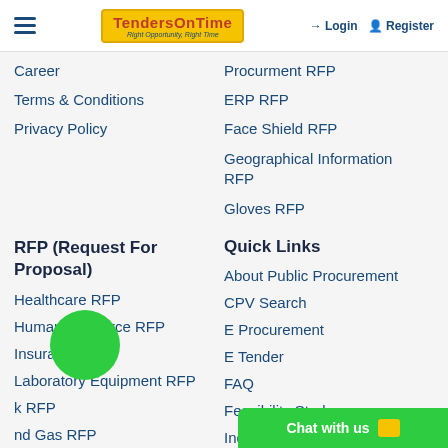TendersOnTime — Right Opportunity, Right Time | Login | Register
Career
Terms & Conditions
Privacy Policy
Procurment RFP
ERP RFP
Face Shield RFP
Geographical Information RFP
Gloves RFP
RFP (Request For Proposal)
Quick Links
Healthcare RFP
Human Resource RFP
Insurance RFP
Laboratory Equipment RFP
k RFP
nd Gas RFP
Pharmaceutical RFP
About Public Procurement
CPV Search
E Procurement
E Tender
FAQ
Feasibility Study
Indian Tenders
Private ...